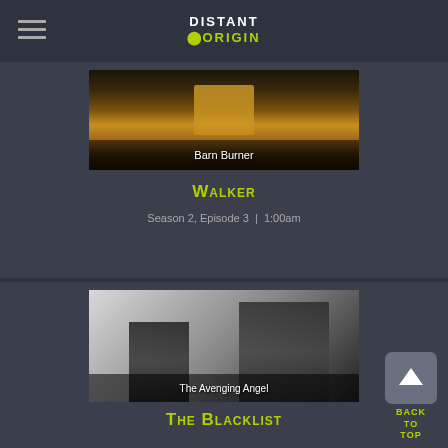DISTANT ORIGIN
[Figure (screenshot): Barn Burner episode thumbnail - dark barn scene with golden light]
Barn Burner
Walker
Season 2, Episode 3  |  1:00am
[Figure (screenshot): The Avenging Angel episode thumbnail - black and white image of man in hat with red sunglasses and woman with gun]
The Avenging Angel
The Blacklist